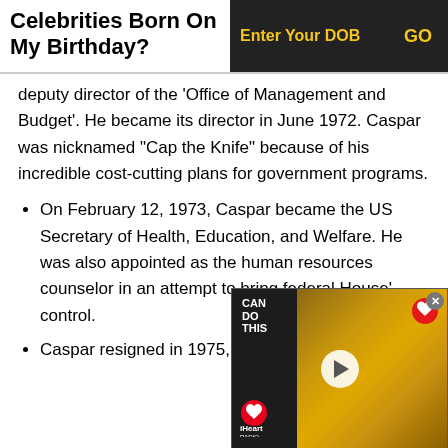Celebrities Born On My Birthday?
deputy director of the 'Office of Management and Budget'. He became its director in June 1972. Caspar was nicknamed "Cap the Knife" because of his incredible cost-cutting plans for government programs.
On February 12, 1973, Caspar became the US Secretary of Health, Education, and Welfare. He was also appointed as the human resources counselor in an attempt to bring federal House' control.
Caspar resigned in 1975, to
[Figure (screenshot): Embedded video thumbnail showing a blonde woman at an iHeart Radio event, with 'CAN DO THIS' text overlay and a play button. iHeart Radio logo visible at bottom left.]